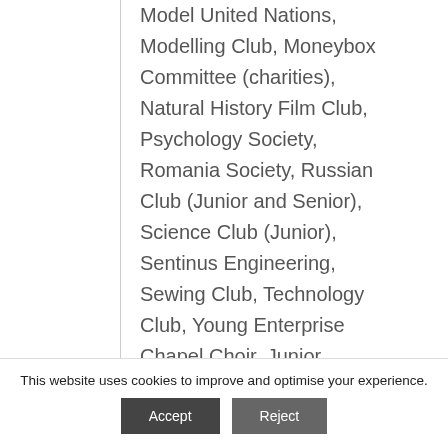Model United Nations, Modelling Club, Moneybox Committee (charities), Natural History Film Club, Psychology Society, Romania Society, Russian Club (Junior and Senior), Science Club (Junior), Sentinus Engineering, Sewing Club, Technology Club, Young Enterprise
Chapel Choir, Junior Choir, Junior Singers, Girls' Choir, Senior Choir, Band, Junior Orchestra, Senior Orchestra,
This website uses cookies to improve and optimise your experience.